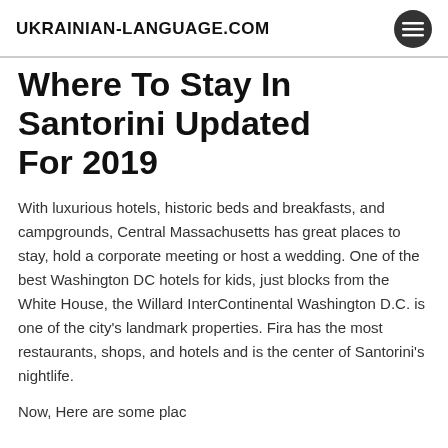UKRAINIAN-LANGUAGE.COM
Where To Stay In Santorini Updated For 2019
With luxurious hotels, historic beds and breakfasts, and campgrounds, Central Massachusetts has great places to stay, hold a corporate meeting or host a wedding. One of the best Washington DC hotels for kids, just blocks from the White House, the Willard InterContinental Washington D.C. is one of the city’s landmark properties. Fira has the most restaurants, shops, and hotels and is the center of Santorini’s nightlife.